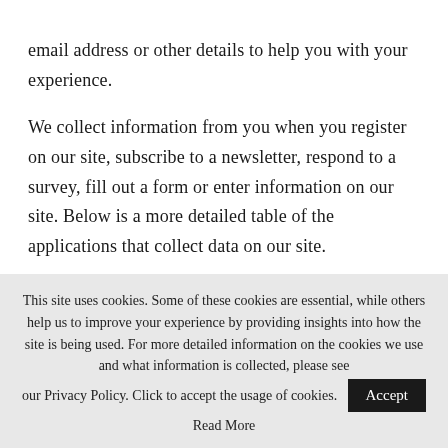email address or other details to help you with your experience.
We collect information from you when you register on our site, subscribe to a newsletter, respond to a survey, fill out a form or enter information on our site. Below is a more detailed table of the applications that collect data on our site.
This site uses cookies. Some of these cookies are essential, while others help us to improve your experience by providing insights into how the site is being used. For more detailed information on the cookies we use and what information is collected, please see our Privacy Policy. Click to accept the usage of cookies. Accept Read More